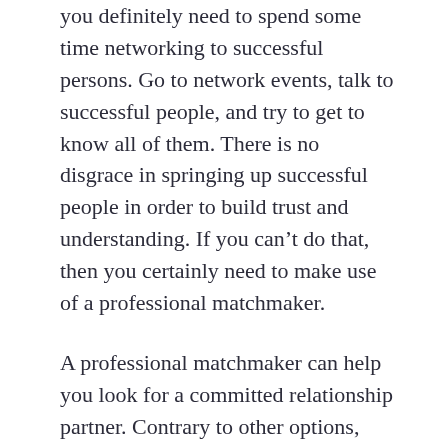you definitely need to spend some time networking to successful persons. Go to network events, talk to successful people, and try to get to know all of them. There is no disgrace in springing up successful people in order to build trust and understanding. If you can't do that, then you certainly need to make use of a professional matchmaker.
A professional matchmaker can help you look for a committed relationship partner. Contrary to other options, including going to house of worship together with your friends, undertaking the interview process date using a boy or girl good friend, or even asking your family, an expert matchmaker will look beyond these kinds of relationships for you. A matchmaker will seek out equally male and female candidates. A good matchmaker can give you much more options than any other approach. You'll have the benefit of meeting somebody who is also buying life partner. This will make the method much easier.
The real key to long term success once going out with girls